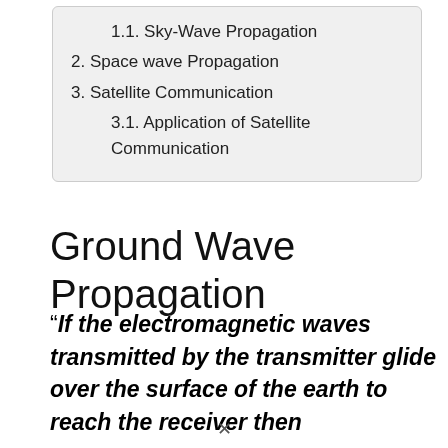1.1. Sky-Wave Propagation
2. Space wave Propagation
3. Satellite Communication
3.1. Application of Satellite Communication
Ground Wave Propagation
“If the electromagnetic waves transmitted by the transmitter glide over the surface of the earth to reach the receiver then